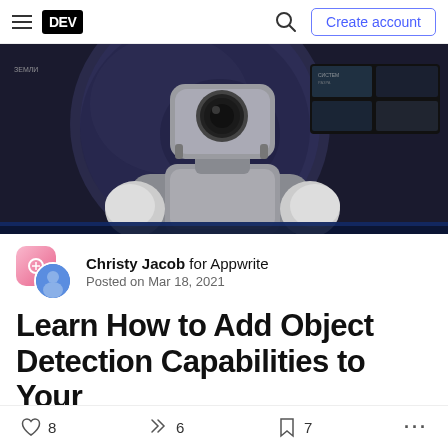DEV — Create account
[Figure (photo): A humanoid robot with a camera-like head against a dark background with screens showing various data and images]
Christy Jacob for Appwrite
Posted on Mar 18, 2021
Learn How to Add Object Detection Capabilities to Your
♡ 8  🥂 6  🔖 7  ...